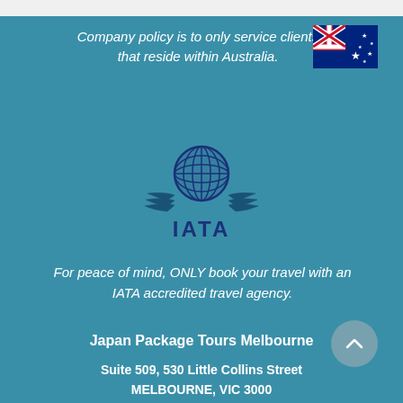Company policy is to only service clients that reside within Australia.
[Figure (illustration): Australian flag icon]
[Figure (logo): IATA logo with globe and wings above IATA text]
For peace of mind, ONLY book your travel with an IATA accredited travel agency.
Japan Package Tours Melbourne
Suite 509, 530 Little Collins Street MELBOURNE, VIC 3000